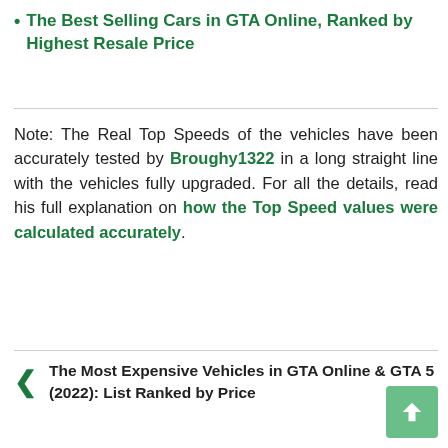The Best Selling Cars in GTA Online, Ranked by Highest Resale Price
Note: The Real Top Speeds of the vehicles have been accurately tested by Broughy1322 in a long straight line with the vehicles fully upgraded. For all the details, read his full explanation on how the Top Speed values were calculated accurately.
The Most Expensive Vehicles in GTA Online & GTA 5 (2022): List Ranked by Price